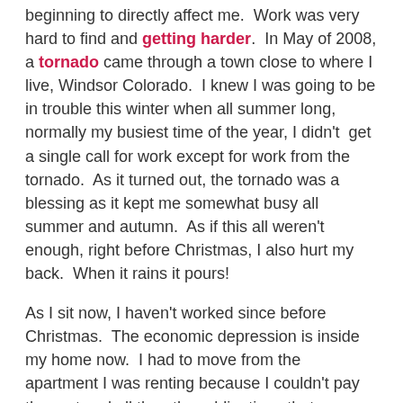beginning to directly affect me.  Work was very hard to find and getting harder.  In May of 2008, a tornado came through a town close to where I live, Windsor Colorado.  I knew I was going to be in trouble this winter when all summer long, normally my busiest time of the year, I didn't  get a single call for work except for work from the tornado.  As it turned out, the tornado was a blessing as it kept me somewhat busy all summer and autumn.  As if this all weren't enough, right before Christmas, I also hurt my back.  When it rains it pours!
As I sit now, I haven't worked since before Christmas.  The economic depression is inside my home now.  I had to move from the apartment I was renting because I couldn't pay the rent and all the other obligations that go along with that.
Now there is a silver lining underneath all these